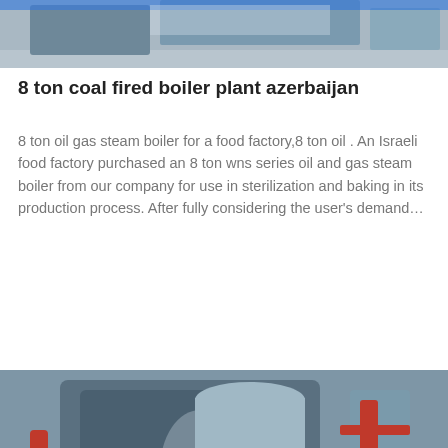[Figure (photo): Partial view of industrial equipment, blue/grey tones, top of page]
8 ton coal fired boiler plant azerbaijan
8 ton oil gas steam boiler for a food factory,8 ton oil . An Israeli food factory purchased an 8 ton wns series oil and gas steam boiler from our company for use in sterilization and baking in its production process. After fully considering the user's demand…
Get Price
[Figure (photo): Industrial boiler equipment in a factory setting, dark blue/grey machinery with red brand logo, WhatsApp badge overlay]